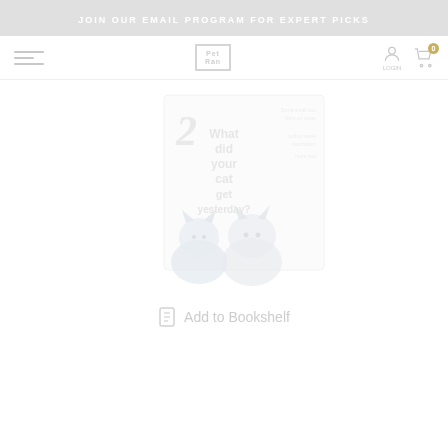JOIN OUR EMAIL PROGRAM FOR EXPERT PICKS
[Figure (logo): PetRan / PetPad bookstore logo with hamburger menu, user icon, and cart icon showing 0 items]
[Figure (illustration): Book cover showing number 2, title text 'What did your cat get yesterday?' with two cartoon cat characters, faded/watermarked appearance]
Add to Bookshelf